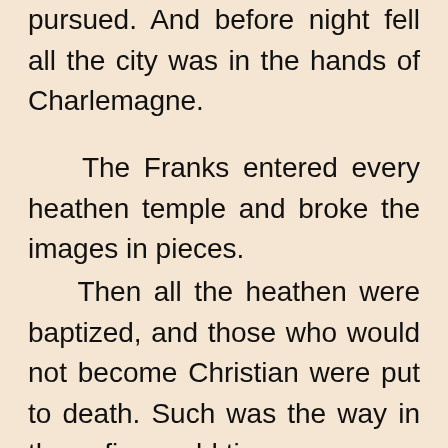pursued. And before night fell all the city was in the hands of Charlemagne.
The Franks entered every heathen temple and broke the images in pieces.
Then all the heathen were baptized, and those who would not become Christian were put to death. Such was the way in those fierce old times.